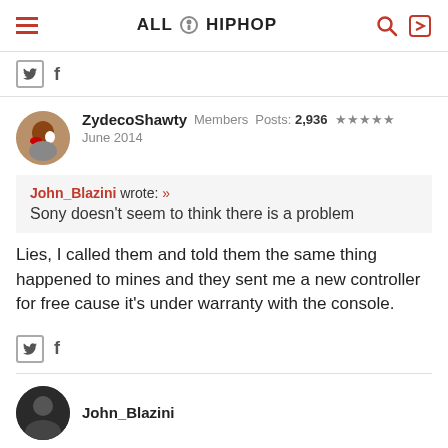ALL HIPHOP
[Figure (logo): AllHipHop website logo with hamburger menu, search icon, and login icon]
ZydeccoShawty  Members  Posts: 2,936  ★★★★★  June 2014
John_Blazini wrote: » Sony doesn't seem to think there is a problem
Lies, I called them and told them the same thing happened to mines and they sent me a new controller for free cause it's under warranty with the console.
John_Blazini